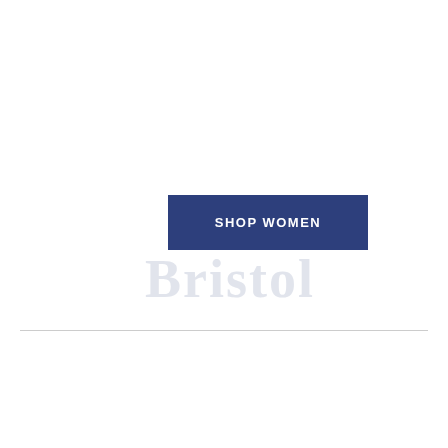[Figure (other): A dark navy blue rectangular button with white bold text reading 'SHOP WOMEN', centered horizontally on the page in the upper-middle area. Below it, a large light grey watermark text reads 'Bristol'. A horizontal grey divider line runs across the page below.]